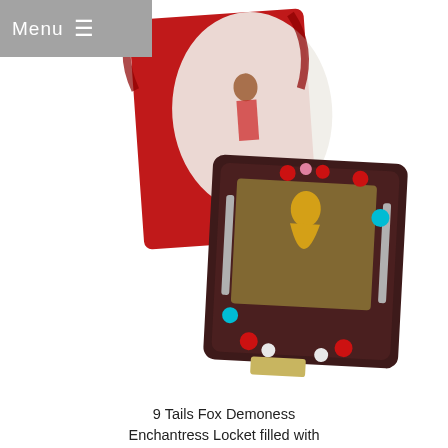Menu ≡
[Figure (photo): A decorative amulet or locket (dark red/brown with embedded colored gemstones and a gold figurine on the front) placed in front of its box, which features an illustrated image of a female figure in red with a large white serpent/dragon on a red background.]
9 Tails Fox Demoness Enchantress Locket filled with